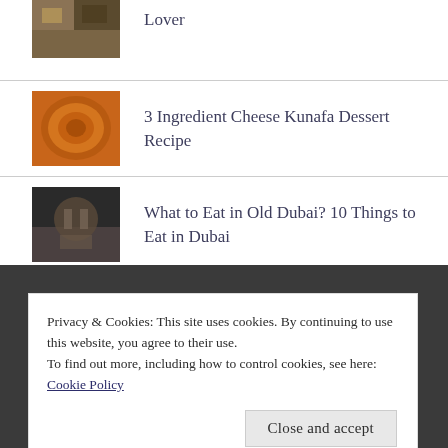Lover
3 Ingredient Cheese Kunafa Dessert Recipe
What to Eat in Old Dubai? 10 Things to Eat in Dubai
Privacy & Cookies: This site uses cookies. By continuing to use this website, you agree to their use.
To find out more, including how to control cookies, see here:
Cookie Policy
Close and accept